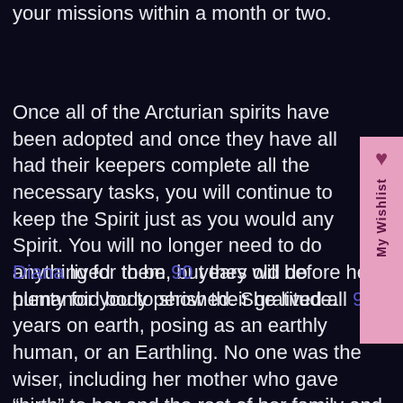Arcturian Spirits will actually have you complete your missions within a month or two.
Once all of the Arcturian spirits have been adopted and once they have all had their keepers complete all the necessary tasks, you will continue to keep the Spirit just as you would any Spirit. You will no longer need to do anything for them, but they will do plenty for you to show their gratitude.
Diana lived to be 90 years old before her humanoid body perished. She lived all 90 years on earth, posing as an earthly human, or an Earthling. No one was the wiser, including her mother who gave “birth” to her and the rest of her family and friends throughout this lifetime. This is the way things were intended to be for all Arcturians on Earth occupying human bodies. Diana’s Spirit lives forever though